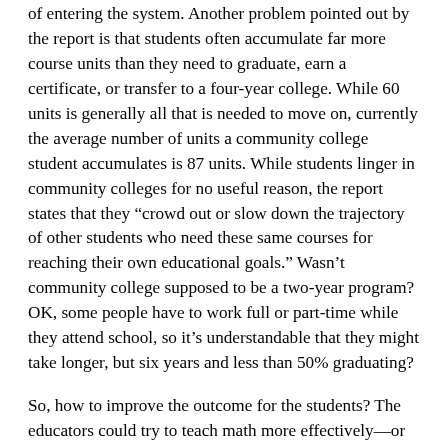of entering the system. Another problem pointed out by the report is that students often accumulate far more course units than they need to graduate, earn a certificate, or transfer to a four-year college. While 60 units is generally all that is needed to move on, currently the average number of units a community college student accumulates is 87 units. While students linger in community colleges for no useful reason, the report states that they “crowd out or slow down the trajectory of other students who need these same courses for reaching their own educational goals.” Wasn’t community college supposed to be a two-year program? OK, some people have to work full or part-time while they attend school, so it’s understandable that they might take longer, but six years and less than 50% graduating?
So, how to improve the outcome for the students? The educators could try to teach math more effectively—or simply lower the bar. Clearly Oakley is making the case for lowering the standard by getting rid of the algebra requirement. He says, “What we’re saying is we want as rigorous a course as possible to determine a student’s ability to succeed, but it should be relevant to their course of study.